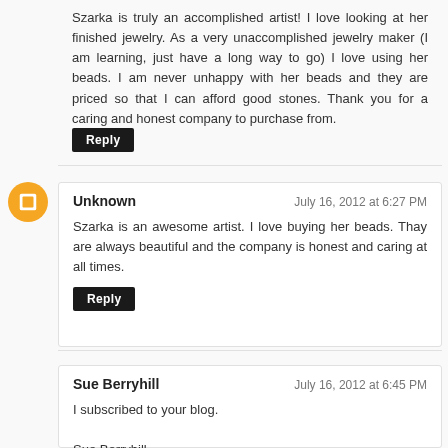Szarka is truly an accomplished artist! I love looking at her finished jewelry. As a very unaccomplished jewelry maker (I am learning, just have a long way to go) I love using her beads. I am never unhappy with her beads and they are priced so that I can afford good stones. Thank you for a caring and honest company to purchase from.
Reply
Unknown
July 16, 2012 at 6:27 PM
Szarka is an awesome artist. I love buying her beads. Thay are always beautiful and the company is honest and caring at all times.
Reply
Sue Berryhill
July 16, 2012 at 6:45 PM
I subscribed to your blog.

Sue Berryhill
silverwillowgallery@gmail.com